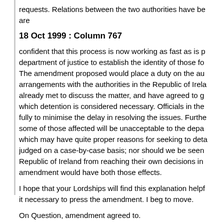requests. Relations between the two authorities have be are
18 Oct 1999 : Column 767
confident that this process is now working as fast as is p department of justice to establish the identity of those fo The amendment proposed would place a duty on the au arrangements with the authorities in the Republic of Irela already met to discuss the matter, and have agreed to g which detention is considered necessary. Officials in the fully to minimise the delay in resolving the issues. Furthe some of those affected will be unacceptable to the depa which may have quite proper reasons for seeking to deta judged on a case-by-case basis; nor should we be seen Republic of Ireland from reaching their own decisions in amendment would have both those effects.
I hope that your Lordships will find this explanation helpf it necessary to press the amendment. I beg to move.
On Question, amendment agreed to.
Next Section | Back to Table of Contents